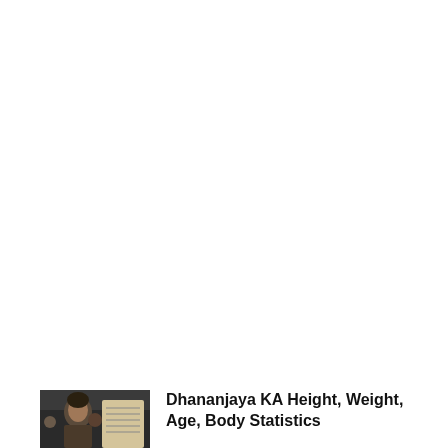Recent Articles
[Figure (photo): Thumbnail photo showing two people, one appearing to be a man in a crowd scene, used as an article preview image.]
Dhananjaya KA Height, Weight, Age, Body Statistics